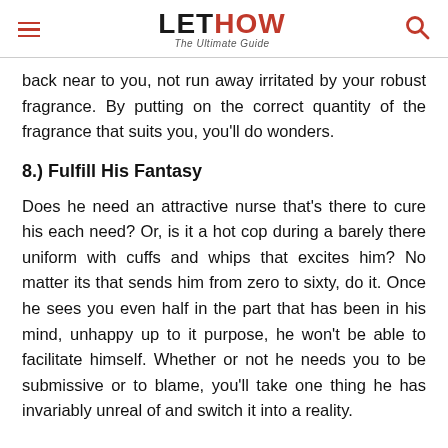LETHOW The Ultimate Guide
back near to you, not run away irritated by your robust fragrance. By putting on the correct quantity of the fragrance that suits you, you'll do wonders.
8.) Fulfill His Fantasy
Does he need an attractive nurse that's there to cure his each need? Or, is it a hot cop during a barely there uniform with cuffs and whips that excites him? No matter its that sends him from zero to sixty, do it. Once he sees you even half in the part that has been in his mind, unhappy up to it purpose, he won't be able to facilitate himself. Whether or not he needs you to be submissive or to blame, you'll take one thing he has invariably unreal of and switch it into a reality.